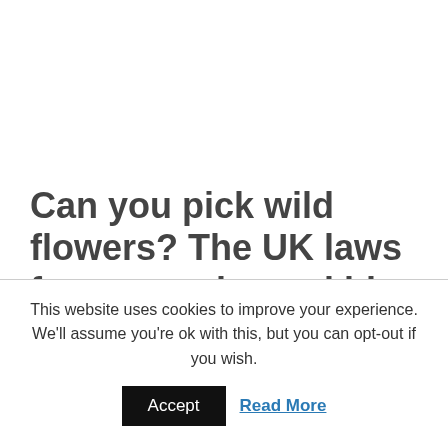Can you pick wild flowers? The UK laws for you and your kids
Last Updated: January 13, 2022
This website uses cookies to improve your experience. We'll assume you're ok with this, but you can opt-out if you wish.
Accept  Read More